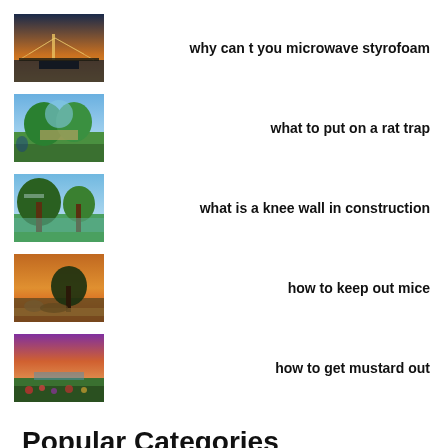[Figure (photo): Sunset over water with a pier, dark silhouette, golden rays]
why can t you microwave styrofoam
[Figure (photo): Scenic park path with green trees and blue sky]
what to put on a rat trap
[Figure (photo): Natural landscape with a large tree and water]
what is a knee wall in construction
[Figure (photo): Sunset landscape with a tree silhouette and rocks]
how to keep out mice
[Figure (photo): Colorful sunset landscape with purple sky and wildflowers]
how to get mustard out
Popular Categories
May 1